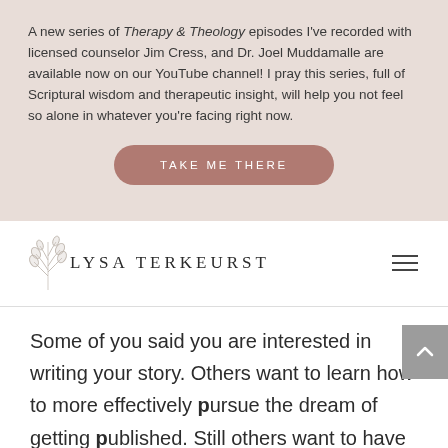A new series of Therapy & Theology episodes I've recorded with licensed counselor Jim Cress, and Dr. Joel Muddamalle are available now on our YouTube channel! I pray this series, full of Scriptural wisdom and therapeutic insight, will help you not feel so alone in whatever you're facing right now.
TAKE ME THERE
[Figure (logo): Lysa TerKeurst logo with decorative leaf/branch SVG element and name in spaced uppercase serif letters]
Some of you said you are interested in writing your story. Others want to learn how to more effectively pursue the dream of getting published. Still others want to have a greater impact when writing a blog or business memo.